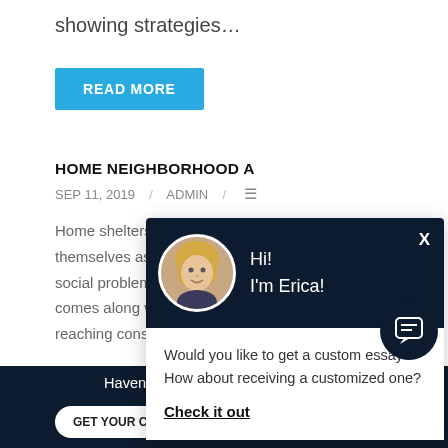showing strategies…
READ MORE
HOME NEIGHBORHOOD A…
SEP 11, 2019 / ADMIN /
Home shelters are not a… themselves as they go a… social problems among a… comes along with a num… reaching consequences. Statistically, an unplanne…
[Figure (screenshot): Chat popup with avatar photo of blonde woman named Erica, greeting Hi! I'm Erica!, and question: Would you like to get a custom essay? How about receiving a customized one? Check it out link.]
Haven't Found The Essay You Want?
GET YOUR CUSTOM ESSAY
For Only $13.90/page